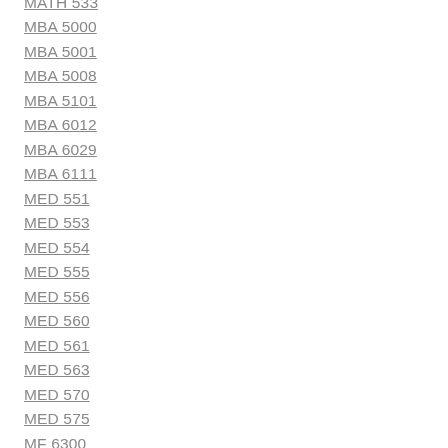MATH 533
MBA 5000
MBA 5001
MBA 5008
MBA 5101
MBA 6012
MBA 6029
MBA 6111
MED 551
MED 553
MED 554
MED 555
MED 556
MED 560
MED 561
MED 563
MED 570
MED 575
MF 6300